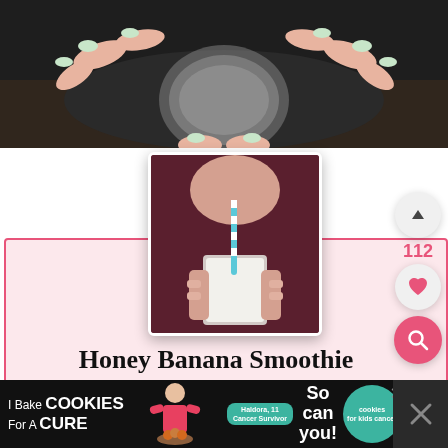[Figure (photo): Top-down view of hands with light mint green nails holding a glass jar, against a dark background]
[Figure (photo): Person drinking a white smoothie from a glass with a blue and white striped straw, wearing a dark red top]
Honey Banana Smoothie
1 from 1 vote
[Figure (infographic): Advertisement banner: I Bake COOKIES For A CURE - Haldora, 11 Cancer Survivor - So can you! - cookies for kids cancer]